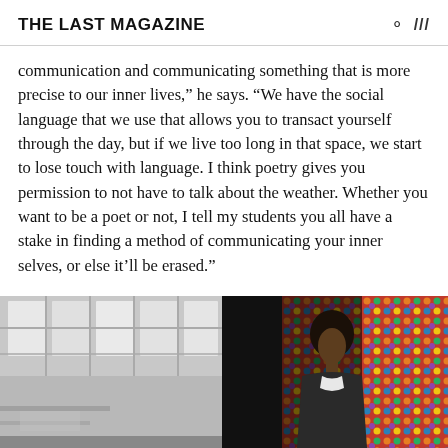THE LAST MAGAZINE
communication and communicating something that is more precise to our inner lives,” he says. “We have the social language that we use that allows you to transact yourself through the day, but if we live too long in that space, we start to lose touch with language. I think poetry gives you permission to not have to talk about the weather. Whether you want to be a poet or not, I tell my students you all have a stake in finding a method of communicating your inner selves, or else it’ll be erased.”
[Figure (photo): Two-panel photograph: left panel shows a black-and-white interior with a skylight/window grid ceiling; right panel shows a woman with an afro against a colorful, multicolored textured background.]